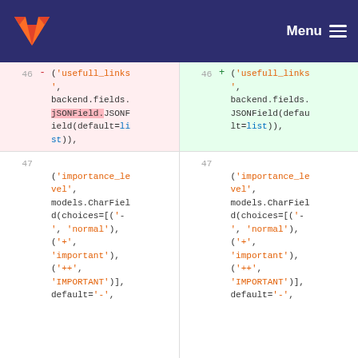GitLab Menu
[Figure (screenshot): GitLab code diff view showing line 46 and 47 changes. Line 46 shows old code with 'usefull_links', backend.fields.JSONField.JSONField(default=list)) changed to backend.fields.JSONField(default=list)). Line 47 shows unchanged code with 'importance_level', models.CharField(choices=[('-', 'normal'), ('+', 'important'), ('++', 'IMPORTANT')], default='-',]